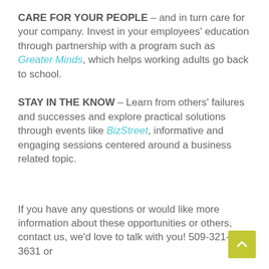CARE FOR YOUR PEOPLE – and in turn care for your company. Invest in your employees' education through partnership with a program such as Greater Minds, which helps working adults go back to school.
STAY IN THE KNOW – Learn from others' failures and successes and explore practical solutions through events like BizStreet, informative and engaging sessions centered around a business related topic.
If you have any questions or would like more information about these opportunities or others, contact us, we'd love to talk with you! 509-321-3631 or